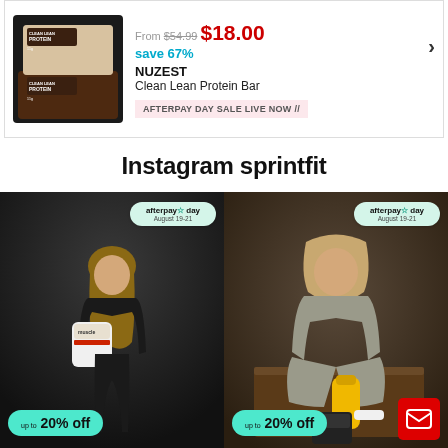From $54.99 $18.00
save 67%
NUZEST
Clean Lean Protein Bar
AFTERPAY DAY SALE LIVE NOW //
[Figure (photo): Nuzest Clean Lean Protein Bar product image showing two stacked bars in brown chocolate packaging]
Instagram sprintfit
[Figure (photo): Woman in black gym attire holding a white supplement container with afterpay day badge and 20% off discount pill]
[Figure (photo): Woman in grey athletic outfit sitting on a box holding a yellow shaker bottle with afterpay day badge and 20% off discount pill]